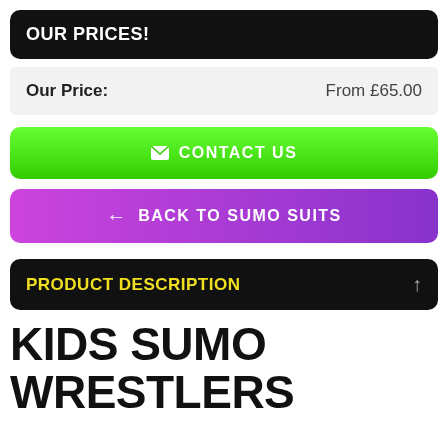OUR PRICES!
| Our Price: | From £65.00 |
| --- | --- |
CONTACT US
BACK TO SUMO SUITS
PRODUCT DESCRIPTION
KIDS SUMO WRESTLERS